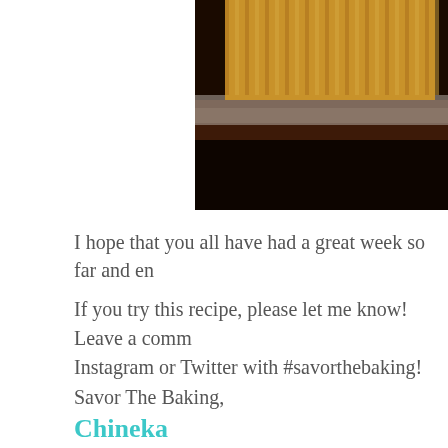[Figure (photo): Close-up photo of a cupcake in a paper liner against a dark background, partially cropped on the right side of the page. The top portion shows the golden-brown cupcake wrapper ridges and a dark background below.]
I hope that you all have had a great week so far and en
If you try this recipe, please let me know! Leave a comm Instagram or Twitter with #savorthebaking!
Savor The Baking,
Chineka